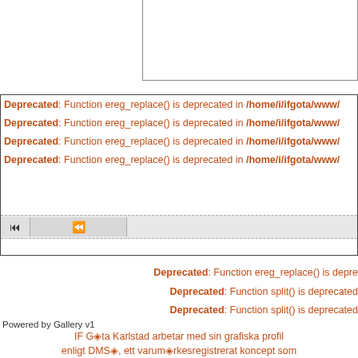[Figure (screenshot): Partial bordered box in upper right area, cut off at top of page]
Deprecated: Function ereg_replace() is deprecated in /home/i/ifgota/www/...
Deprecated: Function ereg_replace() is deprecated in /home/i/ifgota/www/...
Deprecated: Function ereg_replace() is deprecated in /home/i/ifgota/www/...
Deprecated: Function ereg_replace() is deprecated in /home/i/ifgota/www/...
Deprecated: Function ereg_replace() is deprecated in /home/i/ifgota/www/...
Deprecated: Function split() is deprecated
Deprecated: Function split() is deprecated
Powered by Gallery v1
IF Göta Karlstad arbetar med sin grafiska profil enligt DMS®, ett varum®rkesregistrerat koncept som kvalitetssäkrar hanteringen av digitalt material för marknadsföring...